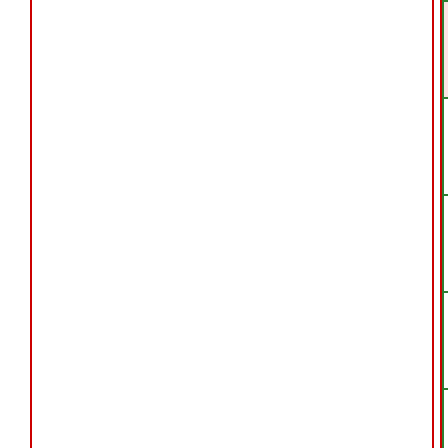| 日付 |  |
| --- | --- |
| 11月7日（□） |  |
| 11月8日（□） |  |
| 11月9日（□） |  |
| 11月10日（□） |  |
| 11月11日（□） |  |
| 11月12日（□） |  |